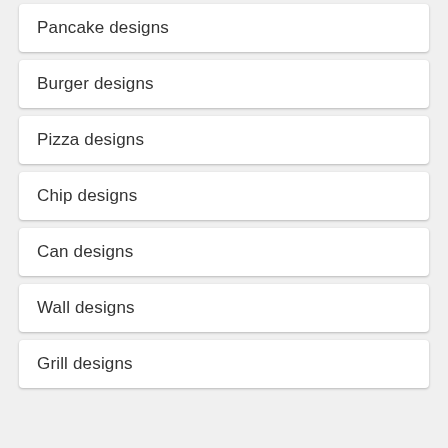Pancake designs
Burger designs
Pizza designs
Chip designs
Can designs
Wall designs
Grill designs